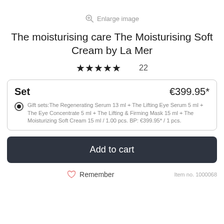Enlarge image
The moisturising care The Moisturising Soft Cream by La Mer
★★★★★ 22
| Set | €399.95* |
| --- | --- |
| Gift sets: The Regenerating Serum 13 ml + The Lifting Eye Serum 5 ml + The Eye Concentrate 5 ml + The Lifting & Firming Mask 15 ml + The Moisturizing Soft Cream 15 ml / 1.00 pcs. BP: €399.95* / 1 pcs. |  |
Add to cart
Remember
Item no. 1000068